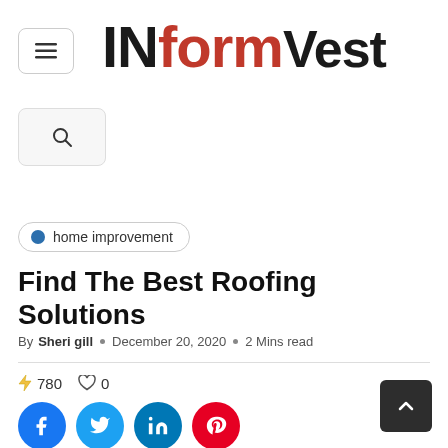INformVest
home improvement
Find The Best Roofing Solutions
By Sheri gill  ○  December 20, 2020  ○  2 Mins read
⚡ 780   ♡ 0